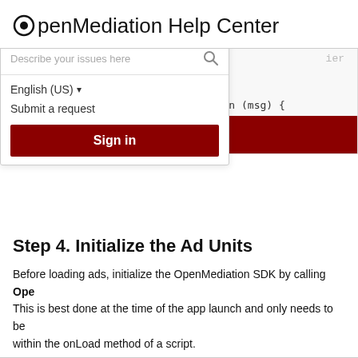OpenMediation Help Center
[Figure (screenshot): Search bar overlay with text 'Describe your issues here', language selector 'English (US)', 'Submit a request' link, and a dark red 'Sign in' button overlaid on a code block showing JavaScript SDK initialization code with onInitFailed and onRewardedVideoAvailabilityChanged functions]
Step 4. Initialize the Ad Units
Before loading ads, initialize the OpenMediation SDK by calling Ope... This is best done at the time of the app launch and only needs to be... within the onLoad method of a script.